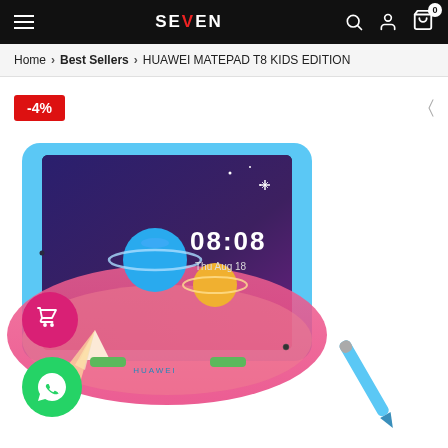SEVEN — navigation bar with hamburger menu, logo, search, user, and cart icons
Home > Best Sellers > HUAWEI MATEPAD T8 KIDS EDITION
-4%
[Figure (photo): Huawei MatePad T8 Kids Edition tablet in a blue protective case with colorful space-themed wallpaper showing time 08:08, displayed with a blue stylus pen. Pink cart button and green WhatsApp button overlaid on image.]